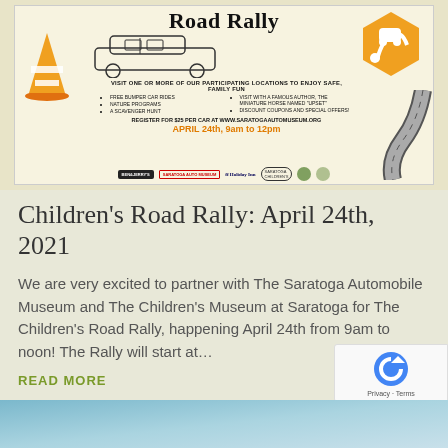[Figure (infographic): Children's Road Rally promotional banner showing a vintage car, traffic cone, orange hexagon with road icon, event details including free bumper car rides, nature programs, scavenger hunt, visit with famous author miniature horse named Upset, discount coupons. Register for $25 per car at www.saratogaautomuseum.org. April 24th, 9am to 12pm. Sponsor logos at bottom including Ben & Jerry's, Holiday Inn, and others.]
Children's Road Rally: April 24th, 2021
We are very excited to partner with The Saratoga Automobile Museum and The Children's Museum at Saratoga for The Children's Road Rally, happening April 24th from 9am to noon! The Rally will start at...
READ MORE